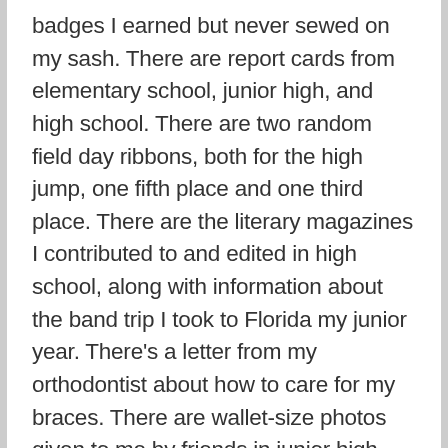badges I earned but never sewed on my sash. There are report cards from elementary school, junior high, and high school. There are two random field day ribbons, both for the high jump, one fifth place and one third place. There are the literary magazines I contributed to and edited in high school, along with information about the band trip I took to Florida my junior year. There's a letter from my orthodontist about how to care for my braces. There are wallet-size photos given to me by friends in junior high with their written dedications to me on the back, along with some notes that they passed to me in classes. My eighth grade yearbook is in there, which is odd because the rest of my yearbooks reside in a separate box. There is the corsage I wore to prom. There is a Junior Passport